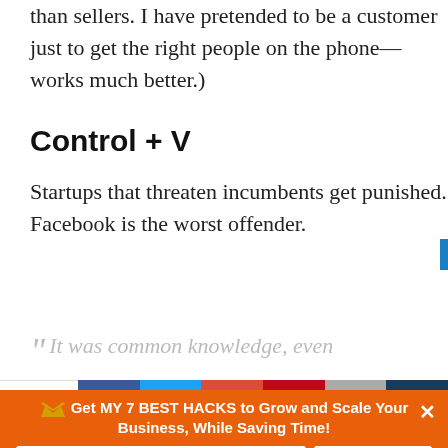than sellers. I have pretended to be a customer just to get the right people on the phone—works much better.)
Control + V
Startups that threaten incumbents get punished. Facebook is the worst offender.
“ It was common knowledge, even
Shares
[Figure (infographic): Social share buttons: Facebook, Twitter, Google+, Pinterest, Email, Crown/newsletter]
Get MY 7 BEST HACKS to Grow and Scale Your Business, While Saving Time!
Enter your Email
GET ACCESS